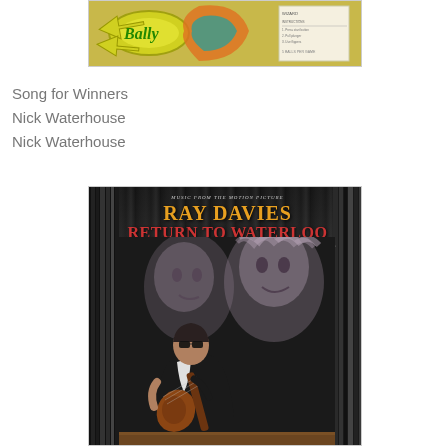[Figure (photo): Photo of a Bally pinball machine playfield with colorful design including yellow arrow shapes and multicolored artwork, with a score card visible on the right side]
Song for Winners
Nick Waterhouse
Nick Waterhouse
[Figure (photo): Photo of a vinyl record album cover for 'Ray Davies - Return to Waterloo: Music from the Motion Picture' displayed among other records on a shelf. The cover shows a man playing guitar in the foreground with ghostly female figures in the background.]